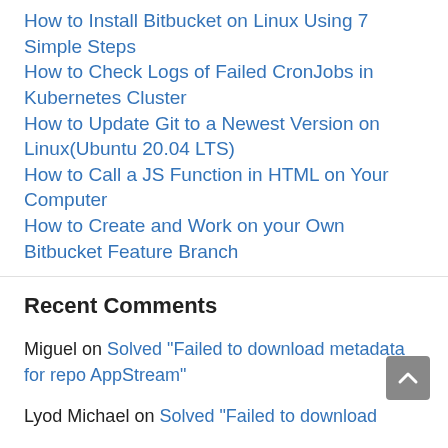How to Install Bitbucket on Linux Using 7 Simple Steps
How to Check Logs of Failed CronJobs in Kubernetes Cluster
How to Update Git to a Newest Version on Linux(Ubuntu 20.04 LTS)
How to Call a JS Function in HTML on Your Computer
How to Create and Work on your Own Bitbucket Feature Branch
Recent Comments
Miguel on Solved "Failed to download metadata for repo AppStream"
Lyod Michael on Solved "Failed to download